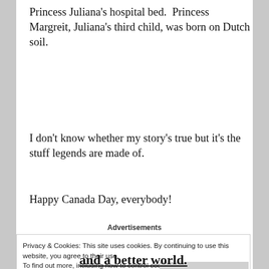Princess Juliana's hospital bed. Princess Margreit, Juliana's third child, was born on Dutch soil.
I don't know whether my story's true but it's the stuff legends are made of.
Happy Canada Day, everybody!
Advertisements
Privacy & Cookies: This site uses cookies. By continuing to use this website, you agree to their use.
To find out more, including how to control cookies, see here: Cookie Policy
Close and accept
and a better world.